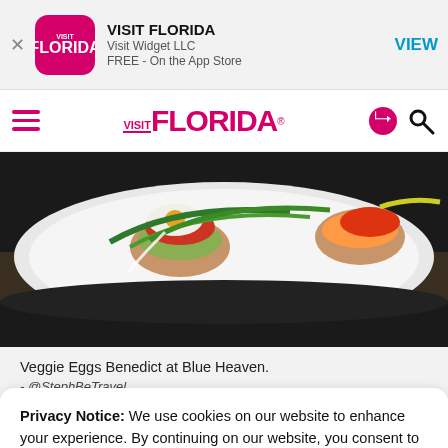[Figure (screenshot): Visit Florida app store banner with pink app icon, app name 'VISIT FLORIDA', developer 'Visit Widget LLC', 'FREE - On the App Store', and a blue 'VIEW' button]
VISIT FLORIDA navigation bar with hamburger menu, Visit Florida logo in pink, share and search icons
[Figure (photo): Close-up photo of Veggie Eggs Benedict dish on a plate at Blue Heaven restaurant, showing poached eggs, avocado, tomato, and greens]
Veggie Eggs Benedict at Blue Heaven.
- @StephBeTravel
Privacy Notice: We use cookies on our website to enhance your experience. By continuing on our website, you consent to our use of cookies. Learn more in our Cookie Notice and our Privacy Policy.